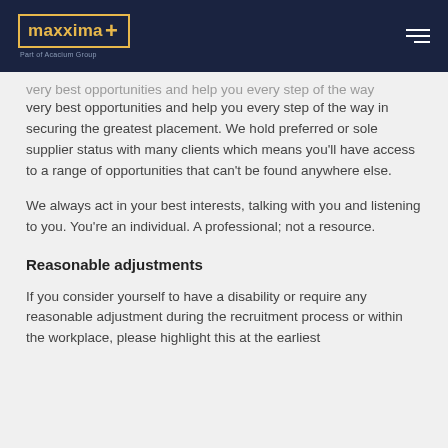maxxima+ Part of Acacium Group
very best opportunities and help you every step of the way in securing the greatest placement. We hold preferred or sole supplier status with many clients which means you'll have access to a range of opportunities that can't be found anywhere else.
We always act in your best interests, talking with you and listening to you. You're an individual. A professional; not a resource.
Reasonable adjustments
If you consider yourself to have a disability or require any reasonable adjustment during the recruitment process or within the workplace, please highlight this at the earliest